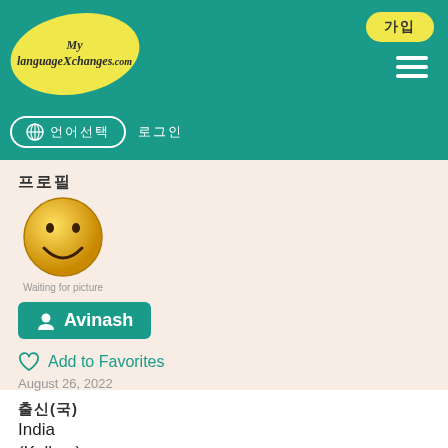My LanguageXchanges.com
프로필
[Figure (illustration): Yellow smiley face emoji placeholder image with caption 'Waiting for picture']
Avinash
♡ Add to Favorites
August 26, 2022
출신(국)
India
(Kollam)
언어
말라얄람어
목적